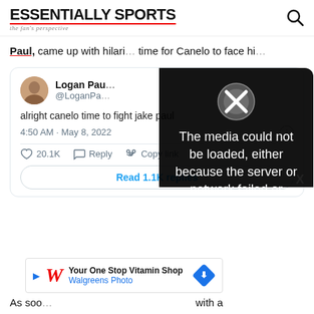ESSENTIALLY SPORTS - the fan's perspective
Paul, came up with hilari... time for Canelo to face hi...
[Figure (screenshot): Tweet embed from Logan Paul (@LoganPa...) reading 'alright canelo time to fight jake paul', posted at 4:50 AM · May 8, 2022, with 20.1K likes, Reply and Copy link actions, and a 'Read 1.1K replies' button. A media error overlay reads: 'The media could not be loaded, either because the server or network failed or' with an X icon.]
[Figure (screenshot): Advertisement banner: Walgreens Photo - Your One Stop Vitamin Shop]
As soo... with a